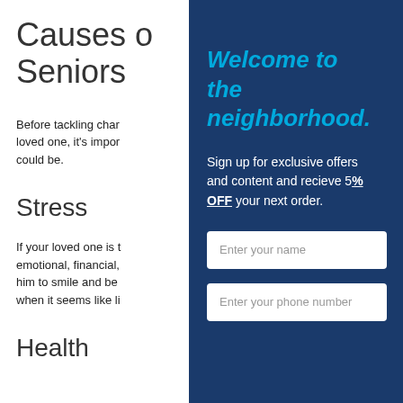Causes of Seniors
Before tackling challenges with a loved one, it's important to understand what the cause could be.
Stress
If your loved one is dealing with emotional, financial, ... him to smile and be ... when it seems like life...
Health
Welcome to the neighborhood.
Sign up for exclusive offers and content and recieve 5% OFF your next order.